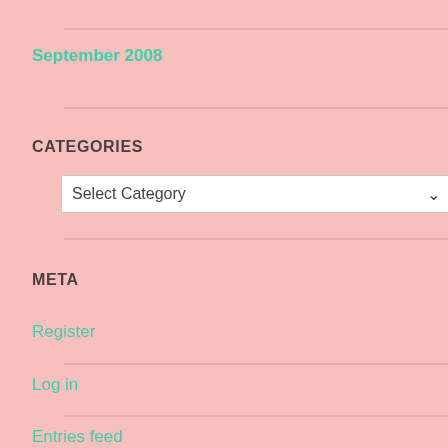September 2008
CATEGORIES
Select Category
META
Register
Log in
Entries feed